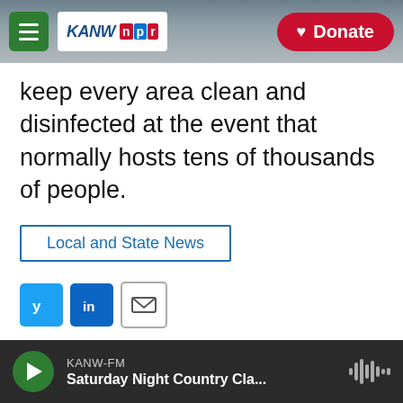KANW NPR — Donate
keep every area clean and disinfected at the event that normally hosts tens of thousands of people.
Local and State News
[Figure (infographic): Social share buttons: Twitter (blue), LinkedIn (blue), Email (white with border)]
Associated Press
See stories by Associated Press
KANW-FM — Saturday Night Country Cla...